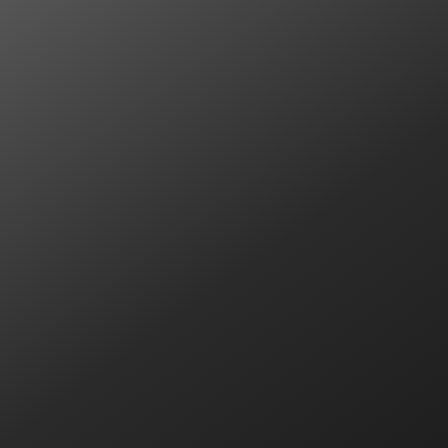They are called “ sentences, not se… three hours on th… by two words of…
1. The First Word
When they came … with the criminal… “Father, forgive t… divided up his cl…
Jesus spoke that … forgiveness for h… first words after b… Technically, this…
Jesus did not say…